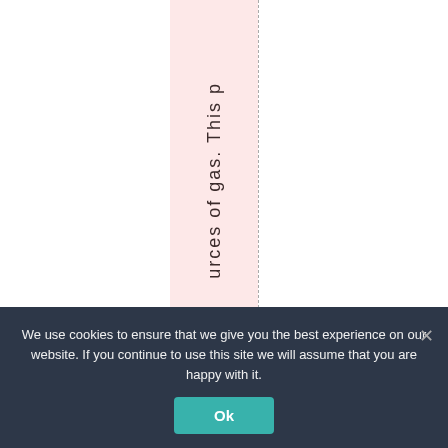[Figure (other): A vertical text column with pink/rose background showing rotated text reading 'urces of gas. This p' with dashed vertical lines on both sides]
We use cookies to ensure that we give you the best experience on our website. If you continue to use this site we will assume that you are happy with it.
Ok